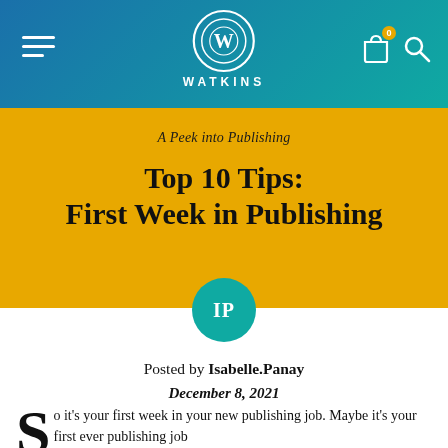WATKINS
A Peek into Publishing
Top 10 Tips: First Week in Publishing
Posted by Isabelle.Panay
December 8, 2021
So it's your first week in your new publishing job. Maybe it's your first ever publishing job